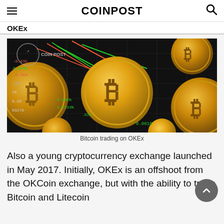COINPOST
OKEx
[Figure (photo): Bitcoin coins arranged on a dark background showing trading chart data with red and green candlestick lines. Coins display the Bitcoin 'B' symbol in gold. Text overlays show price data. COIN POST watermark visible.]
Bitcoin trading on OKEx
Also a young cryptocurrency exchange launched in May 2017. Initially, OKEx is an offshoot from the OKCoin exchange, but with the ability to trade Bitcoin and Litecoin